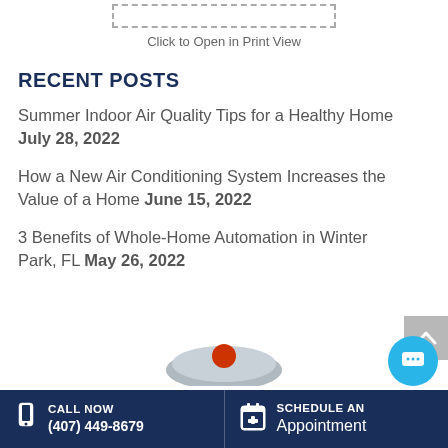Click to Open in Print View
RECENT POSTS
Summer Indoor Air Quality Tips for a Healthy Home July 28, 2022
How a New Air Conditioning System Increases the Value of a Home June 15, 2022
3 Benefits of Whole-Home Automation in Winter Park, FL May 26, 2022
CALL NOW (407) 449-8679 | SCHEDULE AN Appointment